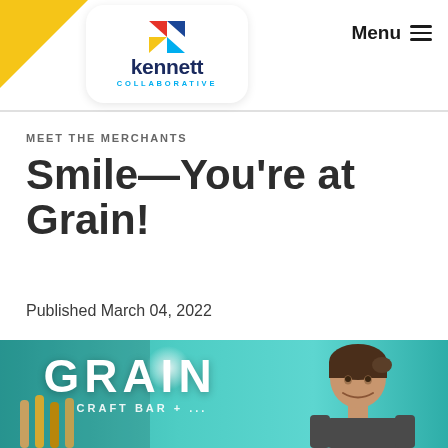[Figure (logo): Kennett Collaborative logo with colorful K icon on white rounded card, yellow triangle in top-left corner of header]
Menu
MEET THE MERCHANTS
Smile—You're at Grain!
Published March 04, 2022
[Figure (photo): Photo of a smiling man with long brown hair pulled back, standing in front of the Grain Craft Bar sign with teal/turquoise background]